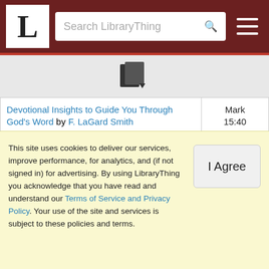L | Search LibraryThing
[Figure (other): LibraryThing book/catalog icon with small dropdown arrow]
| Title / Author | Reference |
| --- | --- |
| Devotional Insights to Guide You Through God's Word by F. LaGard Smith | Mark 15:40 |
| An EHV Study Bible - Evangelical Heritage Version by God | Mark 15:40 |
| Exposition of the Gospel According to Mark by William Hendriksen | Mark 15:40 |
| The Expositor's Bible commentary : Matthew, Mark, Luke, with the New international version of the Holy Bible (Expositor's Bible commentary Vol 8) by Frank... | Mark 15:40 |
This site uses cookies to deliver our services, improve performance, for analytics, and (if not signed in) for advertising. By using LibraryThing you acknowledge that you have read and understand our Terms of Service and Privacy Policy. Your use of the site and services is subject to these policies and terms.